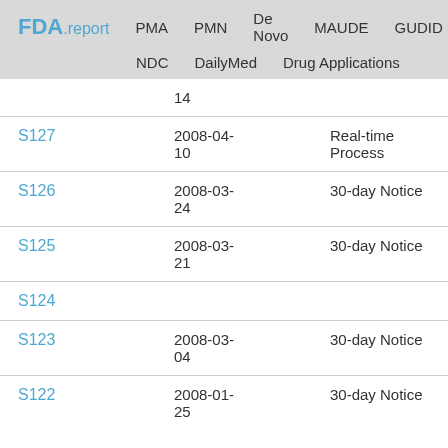FDA.report  PMA  PMN  De Novo  MAUDE  GUDID  NDC  DailyMed  Drug Applications
| Supplement | Date | Type |
| --- | --- | --- |
|  | 14 |  |
| S127 | 2008-04-10 | Real-time Process |
| S126 | 2008-03-24 | 30-day Notice |
| S125 | 2008-03-21 | 30-day Notice |
| S124 |  |  |
| S123 | 2008-03-04 | 30-day Notice |
| S122 | 2008-01-25 | 30-day Notice |